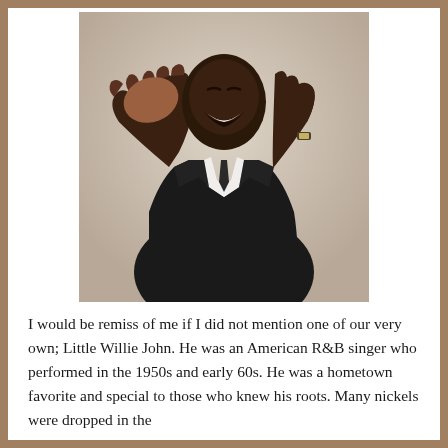[Figure (photo): A Black man in a black suit with white shirt and dark tie, laughing joyfully with both hands raised — one hand spread open facing the viewer, the other raised near his face. The background is a neutral light gray-beige, and the image appears to be a promotional or publicity photograph. The subject is Little Willie John, an American R&B singer.]
I would be remiss of me if I did not mention one of our very own; Little Willie John. He was an American R&B singer who performed in the 1950s and early 60s. He was a hometown favorite and special to those who knew his roots. Many nickels were dropped in the